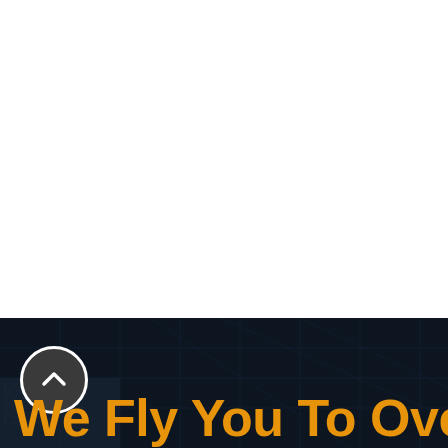[Figure (illustration): White blank area occupying top portion of page]
[Figure (illustration): Dark navy background section with subtle grid/tech pattern overlay, a circular up-arrow navigation button in white circle, and large orange bold text reading 'We Fly You To Over']
We Fly You To Over